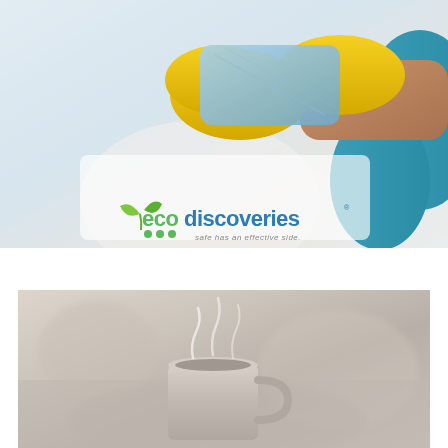[Figure (photo): Person wearing yellow rubber gloves holding a blue cleaning cloth, dressed in teal/blue top, cleaning a surface. Light background.]
[Figure (logo): EcoDiscoveries logo: green leaf icon, green and blue text 'ecodiscoveries' with green dots below, tagline 'safe has an effective side.' in gray italic]
[Figure (photo): Close-up of a steaming mug on what appears to be a blanket or soft surface, blurred warm-toned background.]